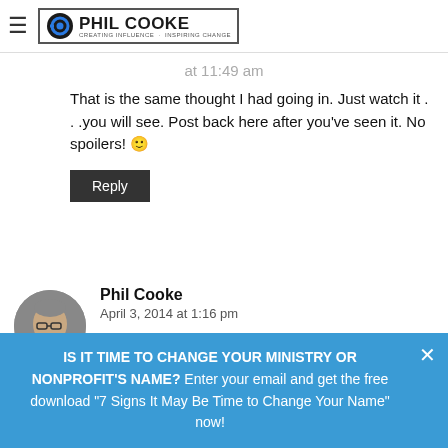Phil Cooke — Creating Influence · Inspiring Change
at 11:49 am
That is the same thought I had going in. Just watch it . . .you will see. Post back here after you've seen it. No spoilers! 🙂
Reply
Phil Cooke
April 3, 2014 at 1:16 pm
This perspective might be interesting for you:
http://www.patheos.com/blogs/tinseltalk/2014/04/released-from-paramount-contract...
IS IT TIME TO CHANGE YOUR MINISTRY OR NONPROFIT'S NAME? Enter your email and get the free download "7 Signs It May Be Time to Change Your Name" now!